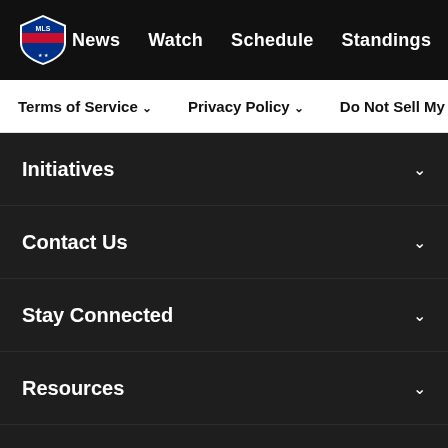MLS Navigation Bar: News, Watch, Schedule, Standings, ...
Terms of Service ∨   Privacy Policy ∨   Do Not Sell My P
Initiatives
Contact Us
Stay Connected
Resources
Store
Club Sites
Social media icons: Twitter, Instagram, Facebook, YouTube